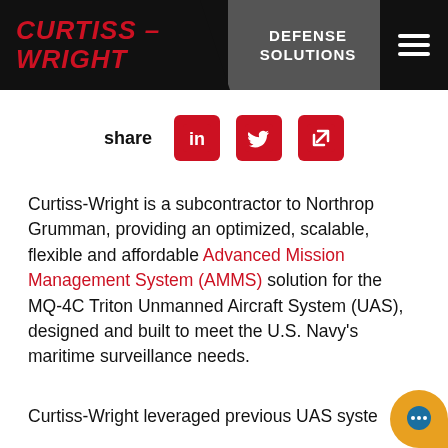[Figure (logo): Curtiss-Wright Defense Solutions header with red italic logo, gray diagonal divider, DEFENSE SOLUTIONS text, and hamburger menu icon]
[Figure (infographic): Share row with LinkedIn, Twitter, and external link icons in red]
Curtiss-Wright is a subcontractor to Northrop Grumman, providing an optimized, scalable, flexible and affordable Advanced Mission Management System (AMMS) solution for the MQ-4C Triton Unmanned Aircraft System (UAS), designed and built to meet the U.S. Navy's maritime surveillance needs.
Curtiss-Wright leveraged previous UAS syste...